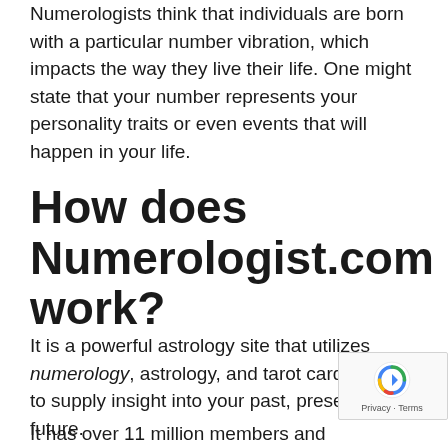Numerologists think that individuals are born with a particular number vibration, which impacts the way they live their life. One might state that your number represents your personality traits or even events that will happen in your life.
How does Numerologist.com work?
It is a powerful astrology site that utilizes numerology, astrology, and tarot card reading to supply insight into your past, present, and future.
It has over 11 million members and...